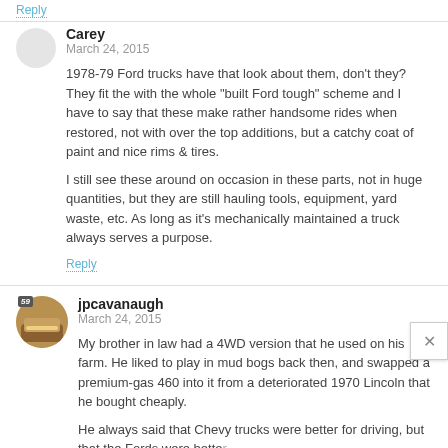Reply
Carey
March 24, 2015
1978-79 Ford trucks have that look about them, don't they? They fit the with the whole "built Ford tough" scheme and I have to say that these make rather handsome rides when restored, not with over the top additions, but a catchy coat of paint and nice rims & tires.
I still see these around on occasion in these parts, not in huge quantities, but they are still hauling tools, equipment, yard waste, etc. As long as it's mechanically maintained a truck always serves a purpose.
Reply
jpcavanaugh
March 24, 2015
My brother in law had a 4WD version that he used on his farm. He liked to play in mud bogs back then, and swapped a premium-gas 460 into it from a deteriorated 1970 Lincoln that he bought cheaply.
He always said that Chevy trucks were better for driving, but that the Fords were better for working. This would probably be in line with haroldingpatrick's observation above...
When these were new, I was struck by how un-truck-like the dash looked in these. Ford did a very credible job of making the interior both car-like and very durable at the same...